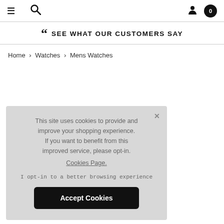≡  🔍  👤  0
❝ SEE WHAT OUR CUSTOMERS SAY
Home › Watches › Mens Watches
This site uses cookies to provide and improve your shopping experience. If you want to benefit from this improved service, please opt-in. Cookies Page.

I opt-in to a better browsing experience

Accept Cookies